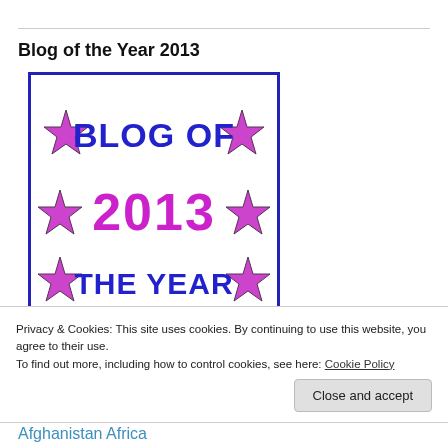Blog of the Year 2013
[Figure (illustration): Blog of the Year 2013 award badge. White background with blue border. Three rows of purple stars flanking bold blue text 'BLOG OF', bold magenta/pink text '2013', and bold blue text 'THE YEAR'.]
Privacy & Cookies: This site uses cookies. By continuing to use this website, you agree to their use.
To find out more, including how to control cookies, see here: Cookie Policy
Close and accept
Afghanistan Africa